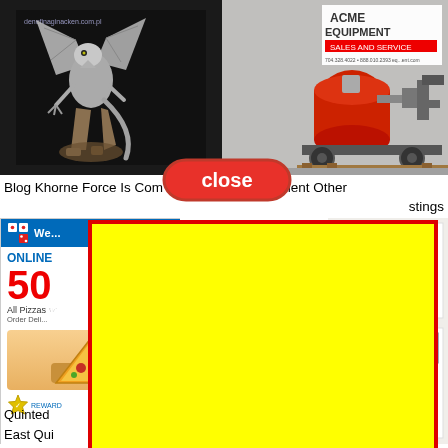[Figure (photo): Two images side by side: left shows a silver dragon/creature miniature on dark background with watermark 'denefinaginacken.com.pl'; right shows industrial equipment (red tank on wheels) in a warehouse with 'ACME EQUIPMENT SALES AND SERVICE' sign]
[Figure (infographic): Red 'close' button overlay appearing between top images and navigation text]
Blog Khorne Force Is Com... ampo Equipment Other
stings
[Figure (photo): Domino's Pizza online 50% off advertisement on left; stamp/handwriting image on right; large yellow rectangle with red border overlaid on center]
Quinted... 30 Page
East Qui...